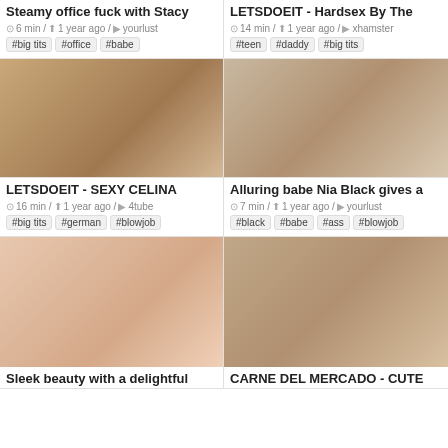Steamy office fuck with Stacy
6 min / 1 year ago / yourlust
#big tits  #office  #babe
LETSDOEIT - Hardsex By The
14 min / 1 year ago / xhamster
#teen  #daddy  #big tits
[Figure (photo): Video thumbnail showing two people]
[Figure (photo): Video thumbnail showing woman]
LETSDOEIT - SEXY CELINA
16 min / 1 year ago / 4tube
#big tits  #german  #blowjob
Alluring babe Nia Black gives a
7 min / 1 year ago / yourlust
#black  #babe  #ass  #blowjob
[Figure (photo): Video thumbnail close up]
[Figure (photo): Video thumbnail with two people on bed]
Sleek beauty with a delightful
CARNE DEL MERCADO - CUTE